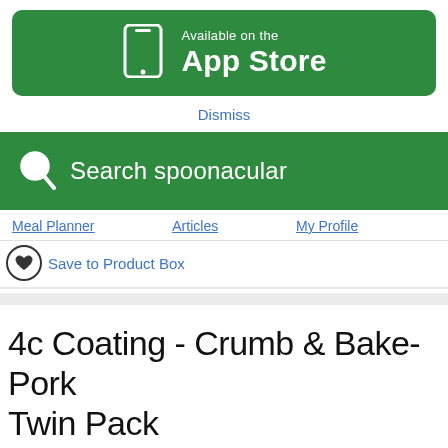[Figure (logo): Green 'Available on the App Store' banner with phone icon]
Dismiss
[Figure (screenshot): Green search bar with magnifying glass icon and text 'Search spoonacular']
Meal Planner   Articles   My Profile
Save to Product Box
4c Coating - Crumb & Bake-Pork Twin Pack